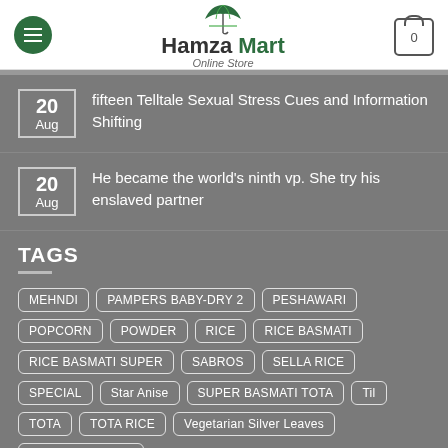Hamza Mart Online Store
20 Aug — fifteen Telltale Sexual Stress Cues and Information Shifting
20 Aug — He became the world's ninth vp. She try his enslaved partner
TAGS
MEHNDI, PAMPERS BABY-DRY 2, PESHAWARI, POPCORN, POWDER, RICE, RICE BASMATI, RICE BASMATI SUPER, SABROS, SELLA RICE, SPECIAL, Star Anise, SUPER BASMATI TOTA, Til, TOTA, TOTA RICE, Vegetarian Silver Leaves, ZARAFA SPECIAL